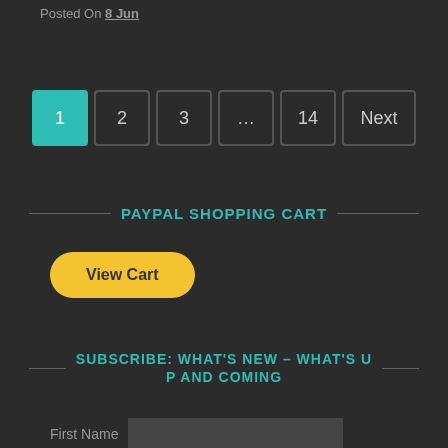Posted On 8 Jun
1  2  3  ...  14  Next
PAYPAL SHOPPING CART
[Figure (other): PayPal View Cart button — yellow pill-shaped button with bold text 'View Cart']
SUBSCRIBE: WHAT'S NEW – WHAT'S UP AND COMING
First Name